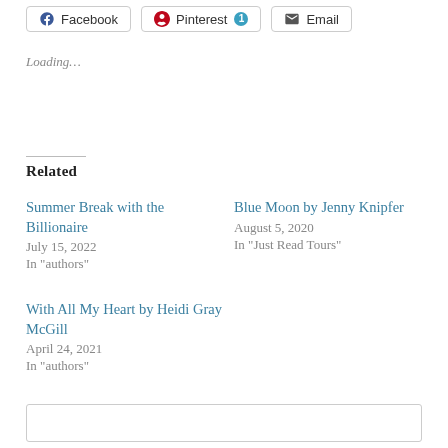Facebook | Pinterest 1 | Email
Loading…
Related
Summer Break with the Billionaire
July 15, 2022
In "authors"
Blue Moon by Jenny Knipfer
August 5, 2020
In "Just Read Tours"
With All My Heart by Heidi Gray McGill
April 24, 2021
In "authors"